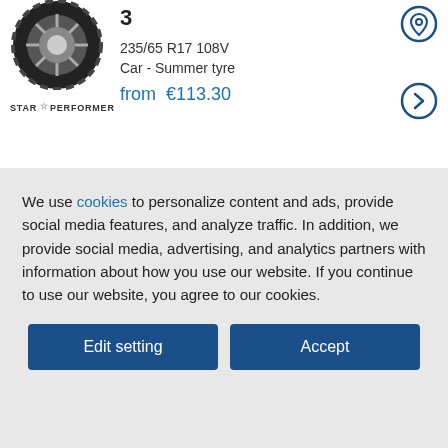3
235/65 R17 108V
Car - Summer tyre
from €113.30
[Figure (logo): STAR PERFORMER brand logo text]
[Figure (photo): Tire product image row 1]
[Figure (illustration): Location pin icon (blue outline)]
[Figure (illustration): Arrow right circle icon (blue outline)]
[Figure (illustration): Shopping cart icon (green)]
[Figure (photo): Tire product image row 2 - Goodyear EfficientGrip]
Goodyear EfficientGrip
[Figure (illustration): 3 gold stars rating]
[Figure (illustration): Chevron up circle button (dark blue)]
We use cookies to personalize content and ads, provide social media features, and analyze traffic. In addition, we provide social media, advertising, and analytics partners with information about how you use our website. If you continue to use our website, you agree to our cookies.
Edit setting
Accept